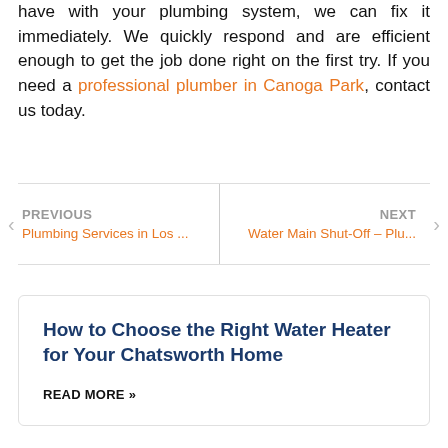have with your plumbing system, we can fix it immediately. We quickly respond and are efficient enough to get the job done right on the first try. If you need a professional plumber in Canoga Park, contact us today.
PREVIOUS | Plumbing Services in Los ... | NEXT | Water Main Shut-Off – Plu...
How to Choose the Right Water Heater for Your Chatsworth Home
READ MORE »